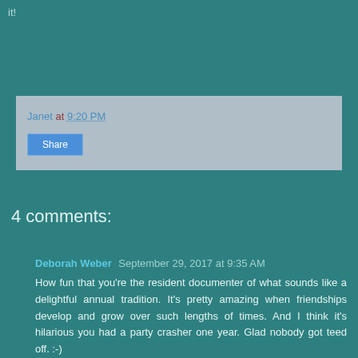it!
Janet at 9:20 PM
Share
4 comments:
Deborah Weber September 29, 2017 at 9:35 AM
How fun that you're the resident documenter of what sounds like a delightful annual tradition. It's pretty amazing when friendships develop and grow over such lengths of times. And I think it's hilarious you had a party crasher one year. Glad nobody got teed off. :-)
Reply